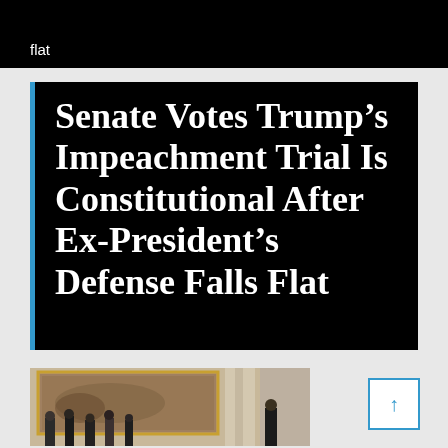flat
Senate Votes Trump’s Impeachment Trial Is Constitutional After Ex-President’s Defense Falls Flat
[Figure (photo): Photo showing soldiers or guards in uniform inside what appears to be a grand building with a large painting or mural visible on the wall and columns in the background.]